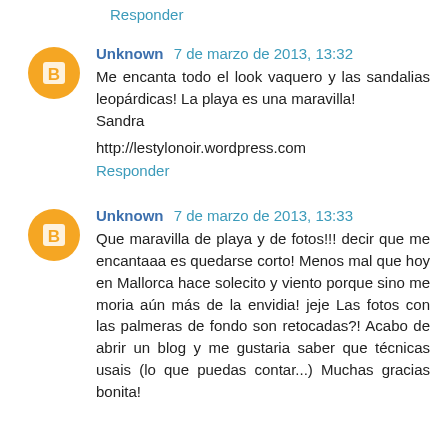Responder
Unknown 7 de marzo de 2013, 13:32
Me encanta todo el look vaquero y las sandalias leopárdicas! La playa es una maravilla!
Sandra

http://lestylonoir.wordpress.com
Responder
Unknown 7 de marzo de 2013, 13:33
Que maravilla de playa y de fotos!!! decir que me encantaaa es quedarse corto! Menos mal que hoy en Mallorca hace solecito y viento porque sino me moria aún más de la envidia! jeje Las fotos con las palmeras de fondo son retocadas?! Acabo de abrir un blog y me gustaria saber que técnicas usais (lo que puedas contar...) Muchas gracias bonita!